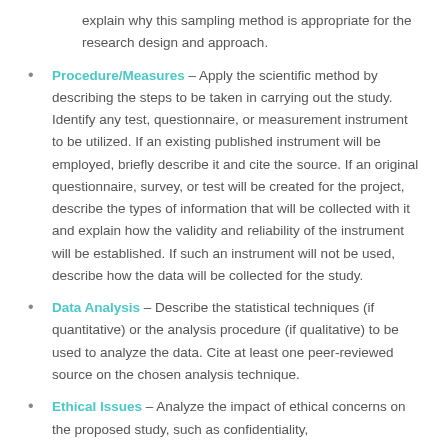explain why this sampling method is appropriate for the research design and approach.
Procedure/Measures – Apply the scientific method by describing the steps to be taken in carrying out the study. Identify any test, questionnaire, or measurement instrument to be utilized. If an existing published instrument will be employed, briefly describe it and cite the source. If an original questionnaire, survey, or test will be created for the project, describe the types of information that will be collected with it and explain how the validity and reliability of the instrument will be established. If such an instrument will not be used, describe how the data will be collected for the study.
Data Analysis – Describe the statistical techniques (if quantitative) or the analysis procedure (if qualitative) to be used to analyze the data. Cite at least one peer-reviewed source on the chosen analysis technique.
Ethical Issues – Analyze the impact of ethical concerns on the proposed study, such as confidentiality,